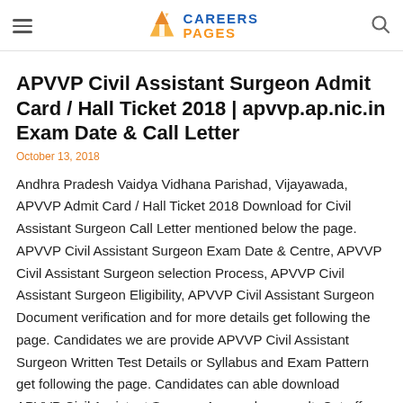CAREERS PAGES
APVVP Civil Assistant Surgeon Admit Card / Hall Ticket 2018 | apvvp.ap.nic.in Exam Date & Call Letter
October 13, 2018
Andhra Pradesh Vaidya Vidhana Parishad, Vijayawada, APVVP Admit Card / Hall Ticket 2018 Download for Civil Assistant Surgeon Call Letter mentioned below the page. APVVP Civil Assistant Surgeon Exam Date & Centre, APVVP Civil Assistant Surgeon selection Process, APVVP Civil Assistant Surgeon Eligibility, APVVP Civil Assistant Surgeon Document verification and for more details get following the page. Candidates we are provide APVVP Civil Assistant Surgeon Written Test Details or Syllabus and Exam Pattern get following the page. Candidates can able download APVVP Civil Assistant Surgeon Answer key, result, Cut off,